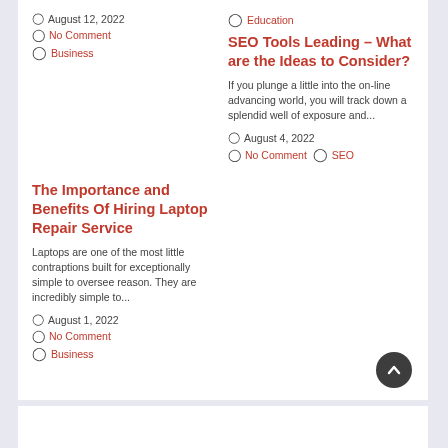August 12, 2022 | No Comment | Business
Education | SEO Tools Leading – What are the Ideas to Consider? | If you plunge a little into the on-line advancing world, you will track down a splendid well of exposure and... | August 4, 2022 | No Comment | SEO
The Importance and Benefits Of Hiring Laptop Repair Service
Laptops are one of the most little contraptions built for exceptionally simple to oversee reason. They are incredibly simple to...
August 1, 2022 | No Comment | Business